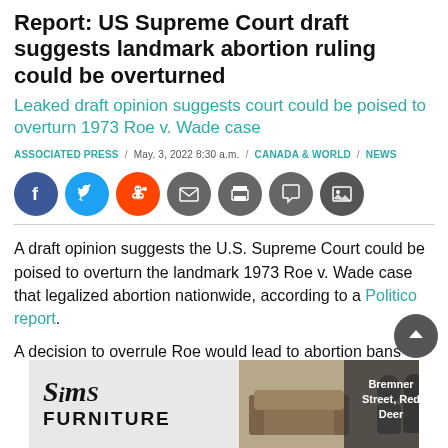Report: US Supreme Court draft suggests landmark abortion ruling could be overturned
Leaked draft opinion suggests court could be poised to overturn 1973 Roe v. Wade case
ASSOCIATED PRESS / May. 3, 2022 8:30 a.m. / CANADA & WORLD / NEWS
[Figure (infographic): Social sharing icons: Facebook, Twitter, Reddit, Email, Print, Comment, Image]
A draft opinion suggests the U.S. Supreme Court could be poised to overturn the landmark 1973 Roe v. Wade case that legalized abortion nationwide, according to a Politico report.
A decision to overrule Roe would lead to abortion bans
[Figure (illustration): Sims Furniture advertisement banner with couch photo. Text: Bremner Street, Red Deer]